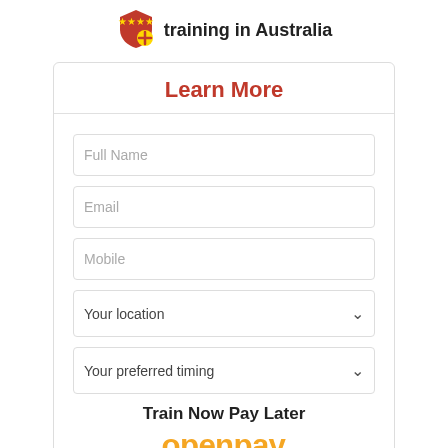[Figure (logo): Red and gold shield/medal logo icon for training organization]
training in Australia
Learn More
Full Name
Email
Mobile
Your location
Your preferred timing
Train Now Pay Later
[Figure (logo): Openpay logo in orange/yellow text]